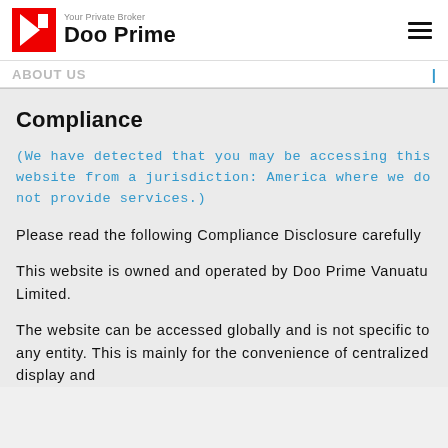Doo Prime — Your Private Broker
ABOUT US
Compliance
(We have detected that you may be accessing this website from a jurisdiction: America where we do not provide services.)
Please read the following Compliance Disclosure carefully
This website is owned and operated by Doo Prime Vanuatu Limited.
The website can be accessed globally and is not specific to any entity. This is mainly for the convenience of centralized display and